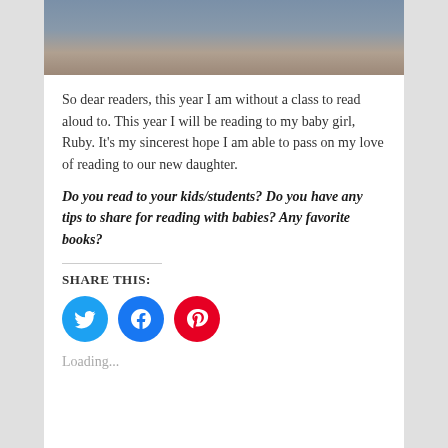[Figure (photo): Partial photo of a person wearing denim overalls and a dark shirt, with a basketball visible in the upper portion, against a light mottled background.]
So dear readers, this year I am without a class to read aloud to. This year I will be reading to my baby girl, Ruby. It's my sincerest hope I am able to pass on my love of reading to our new daughter.
Do you read to your kids/students? Do you have any tips to share for reading with babies? Any favorite books?
SHARE THIS:
[Figure (infographic): Three social media share buttons: Twitter (blue bird icon), Facebook (blue f icon), Pinterest (red P icon).]
Loading...